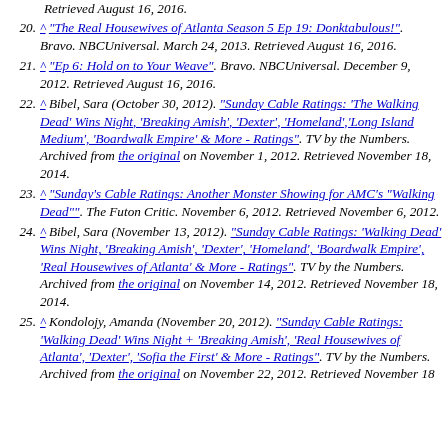20. ^ "The Real Housewives of Atlanta Season 5 Ep 19: Donktabulous!". Bravo. NBCUniversal. March 24, 2013. Retrieved August 16, 2016.
21. ^ "Ep 6: Hold on to Your Weave". Bravo. NBCUniversal. December 9, 2012. Retrieved August 16, 2016.
22. ^ Bibel, Sara (October 30, 2012). "Sunday Cable Ratings: 'The Walking Dead' Wins Night, 'Breaking Amish', 'Dexter', 'Homeland','Long Island Medium', 'Boardwalk Empire' & More - Ratings". TV by the Numbers. Archived from the original on November 1, 2012. Retrieved November 18, 2014.
23. ^ "Sunday's Cable Ratings: Another Monster Showing for AMC's "Walking Dead"". The Futon Critic. November 6, 2012. Retrieved November 6, 2012.
24. ^ Bibel, Sara (November 13, 2012). "Sunday Cable Ratings: 'Walking Dead' Wins Night, 'Breaking Amish', 'Dexter', 'Homeland', 'Boardwalk Empire', 'Real Housewives of Atlanta' & More - Ratings". TV by the Numbers. Archived from the original on November 14, 2012. Retrieved November 18, 2014.
25. ^ Kondolojy, Amanda (November 20, 2012). "Sunday Cable Ratings: 'Walking Dead' Wins Night + 'Breaking Amish', 'Real Housewives of Atlanta', 'Dexter', 'Sofia the First' & More - Ratings". TV by the Numbers. Archived from the original on November 22, 2012. Retrieved November 18